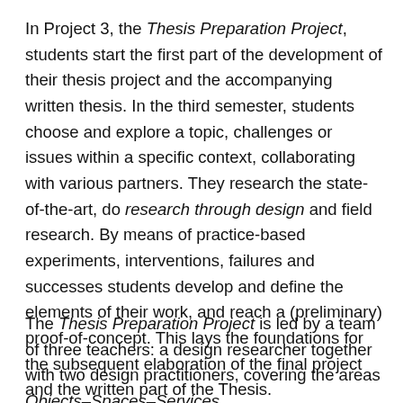In Project 3, the Thesis Preparation Project, students start the first part of the development of their thesis project and the accompanying written thesis. In the third semester, students choose and explore a topic, challenges or issues within a specific context, collaborating with various partners. They research the state-of-the-art, do research through design and field research. By means of practice-based experiments, interventions, failures and successes students develop and define the elements of their work, and reach a (preliminary) proof-of-concept. This lays the foundations for the subsequent elaboration of the final project and the written part of the Thesis.
The Thesis Preparation Project is led by a team of three teachers: a design researcher together with two design practitioners, covering the areas Objects–Spaces–Services